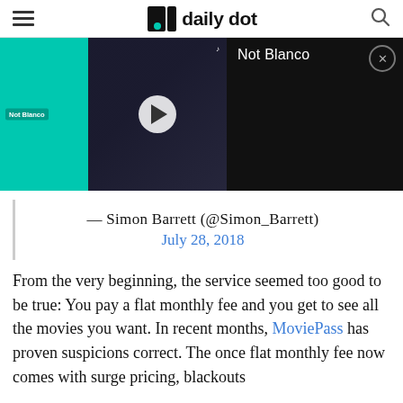daily dot
[Figure (screenshot): TikTok video thumbnail showing 'Not Blanco' label on a teal background with a play button, beside a dark panel with title 'Not Blanco' and a close button]
— Simon Barrett (@Simon_Barrett)
July 28, 2018
From the very beginning, the service seemed too good to be true: You pay a flat monthly fee and you get to see all the movies you want. In recent months, MoviePass has proven suspicions correct. The once flat monthly fee now comes with surge pricing, blackouts